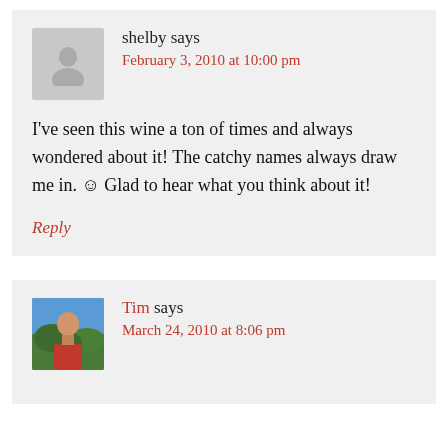shelby says
February 3, 2010 at 10:00 pm
I've seen this wine a ton of times and always wondered about it! The catchy names always draw me in. 🙂 Glad to hear what you think about it!
Reply
Tim says
March 24, 2010 at 8:06 pm